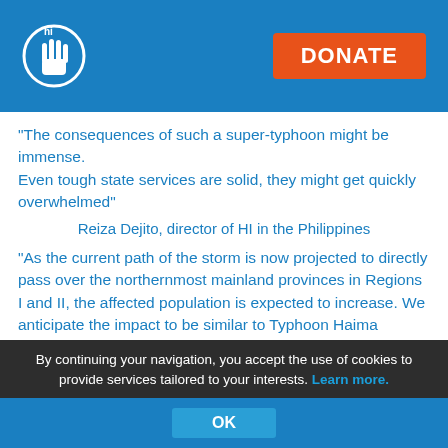[Figure (logo): HI (Humanity & Inclusion) logo: white hand icon in a circle with 'hi' text, on blue background]
"The consequences of such a super-typhoon might be immense. Even tough state services are solid, they might get quickly overwhelmed"
Reiza Dejito, director of HI in the Philippines
"As the current path of the storm is now projected to directly pass over the northernmost mainland provinces in Regions I and II, the affected population is expected to increase. We anticipate the impact to be similar to Typhoon Haima (locally called Lawin) in 2016, with the greatest damages to agricultural crops and houses"
By continuing your navigation, you accept the use of cookies to provide services tailored to your interests. Learn more.
OK